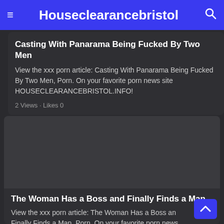≡ Houseclearancebristol 🔍
Casting With Panarama Being Fucked By Two Men
View the xxx porn article: Casting With Panarama Being Fucked By Two Men, Porn. On your favorite porn news site HOUSECLEARANCEBRISTOL.INFO!
2 Views · Likes 0
[Figure (photo): Dark placeholder image area for second article card]
The Woman Has a Boss and Finally Finds a Man
View the xxx porn article: The Woman Has a Boss and Finally Finds a Man, Porn. On your favorite porn news